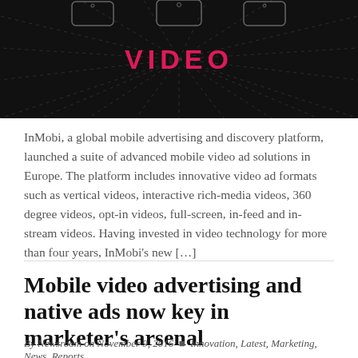[Figure (illustration): Dark banner image with radiating dashed lines and the word VIDEO in pink/red text on a black background, with mobile phone silhouettes at the top.]
InMobi, a global mobile advertising and discovery platform, launched a suite of advanced mobile video ad solutions in Europe. The platform includes innovative video ad formats such as vertical videos, interactive rich-media videos, 360 degree videos, opt-in videos, full-screen, in-feed and in-stream videos. Having invested in video technology for more than four years, InMobi's new […]
Mobile video advertising and native ads now key in marketer's arsenal
By Newsroom on November 9, 2016  Innovation, Latest, Marketing, News, Reports